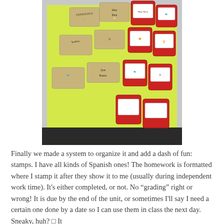[Figure (photo): A collection of rubber stamps with red ink pads arranged on a yellow-green surface. The stamps have Spanish text and images on them, including phrases like 'Muy Bien', 'Fantastico', 'Te Amo', and 'Que Bueno'.]
Finally we made a system to organize it and add a dash of fun: stamps. I have all kinds of Spanish ones! The homework is formatted where I stamp it after they show it to me (usually during independent work time). It's either completed, or not. No "grading" right or wrong! It is due by the end of the unit, or sometimes I'll say I need a certain one done by a date so I can use them in class the next day. Sneaky, huh? It